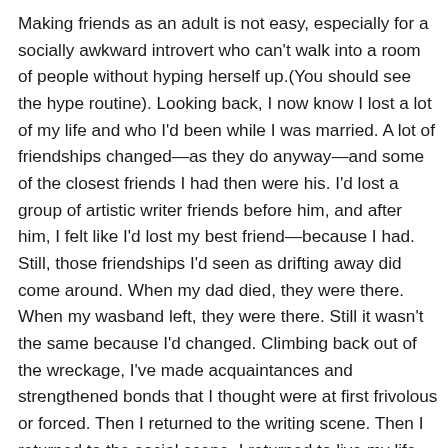Making friends as an adult is not easy, especially for a socially awkward introvert who can't walk into a room of people without hyping herself up.(You should see the hype routine). Looking back, I now know I lost a lot of my life and who I'd been while I was married. A lot of friendships changed—as they do anyway—and some of the closest friends I had then were his. I'd lost a group of artistic writer friends before him, and after him, I felt like I'd lost my best friend—because I had. Still, those friendships I'd seen as drifting away did come around. When my dad died, they were there. When my wasband left, they were there. Still it wasn't the same because I'd changed. Climbing back out of the wreckage, I've made acquaintances and strengthened bonds that I thought were at first frivolous or forced. Then I returned to the writing scene. Then I returned to the social scene. I returned to live my life as a new person, backed by therapy and Buddhism. Then this workshop came along. Here was a monthly gathering